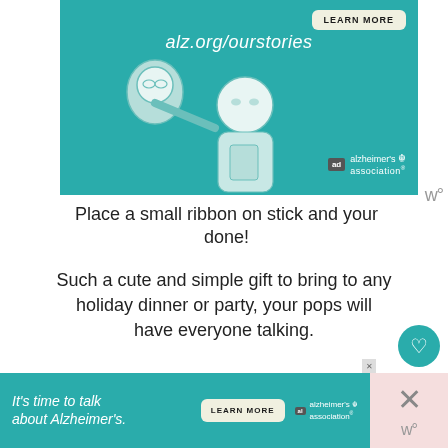[Figure (illustration): Alzheimer's Association advertisement banner showing two illustrated people (an older man with glasses and a younger person) on a teal background with text 'alz.org/ourstories', a 'LEARN MORE' button, and the Alzheimer's Association logo.]
Place a small ribbon on stick and your done!
Such a cute and simple gift to bring to any holiday dinner or party, your pops will have everyone talking.
Hope you enjoyed creating these super cute ca pops.
[Figure (illustration): Alzheimer's Association advertisement banner at the bottom with teal background, text 'It's time to talk about Alzheimer's.' and a 'LEARN MORE' button, plus the Alzheimer's Association logo.]